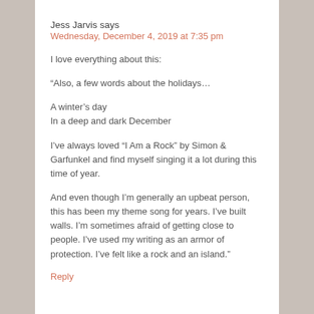Jess Jarvis says
Wednesday, December 4, 2019 at 7:35 pm
I love everything about this:
“Also, a few words about the holidays...

A winter’s day
In a deep and dark December

I’ve always loved “I Am a Rock” by Simon & Garfunkel and find myself singing it a lot during this time of year.

And even though I’m generally an upbeat person, this has been my theme song for years. I’ve built walls. I’m sometimes afraid of getting close to people. I’ve used my writing as an armor of protection. I’ve felt like a rock and an island.”
Reply